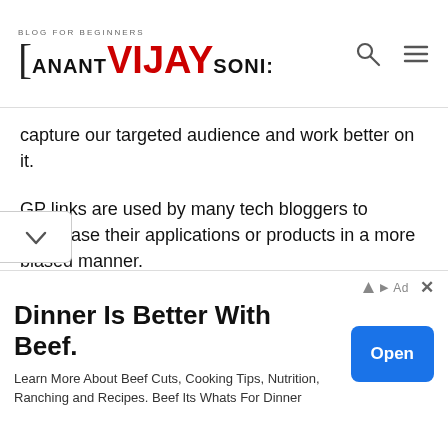ANANT VIJAY SONI — Blog for beginners
capture our targeted audience and work better on it.
GP links are used by many tech bloggers to showcase their applications or products in a more biased manner.
Even many telegram channel owners use this URL shortener mostly in movies channel.
This has proved to be a successful and guaranteed site.
[Figure (other): Advertisement banner: Dinner Is Better With Beef. Learn More About Beef Cuts, Cooking Tips, Nutrition, Ranching and Recipes. Beef Its Whats For Dinner. With an Open button.]